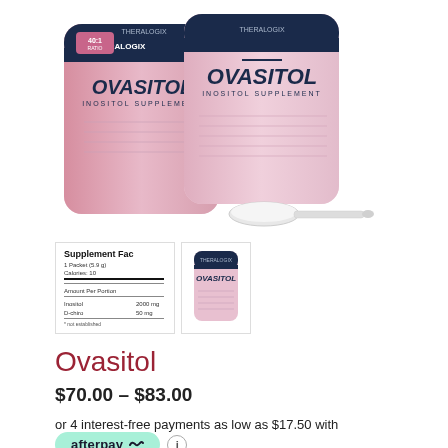[Figure (photo): Two pink and white Ovasitol inositol supplement containers (pouches/tubs) with a white measuring scoop in front, on white background. Theralogix brand.]
[Figure (photo): Thumbnail image showing supplement facts label for Ovasitol]
[Figure (photo): Thumbnail image showing Ovasitol pink pouch front]
Ovasitol
$70.00 – $83.00
or 4 interest-free payments as low as $17.50 with afterpay
Ovasitol promotes menstrual regularity and normal ovarian function. Ships Free!
Ovasitol is a high quality, medical-grade supplement that